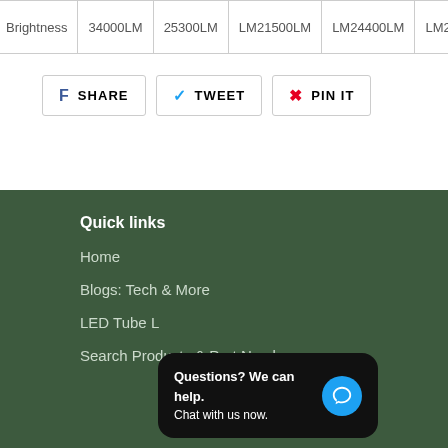| Brightness | 34000LM | 25300LM | LM21500LM | LM24400LM | LM2180LM |
| --- | --- | --- | --- | --- | --- |
|  |
SHARE
TWEET
PIN IT
Quick links
Home
Blogs: Tech & More
LED Tube L
Search Products & Part Numbers
Questions? We can help. Chat with us now.